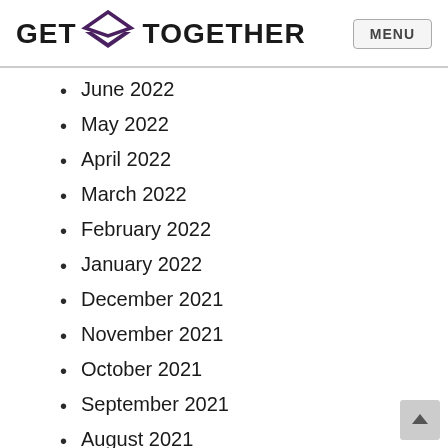GET TOGETHER — MENU
June 2022
May 2022
April 2022
March 2022
February 2022
January 2022
December 2021
November 2021
October 2021
September 2021
August 2021
July 2021